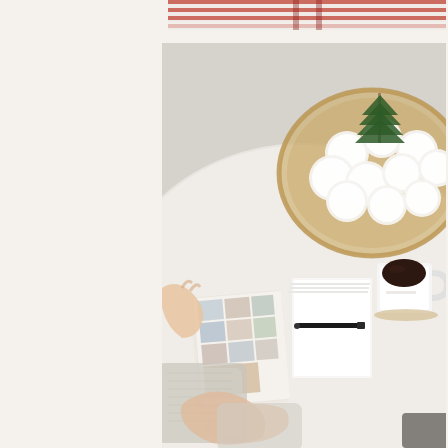[Figure (photo): Top partial image showing striped wrapping paper or gift wrap in red and white stripes at the top of the page]
[Figure (photo): Overhead view of a person sitting at a round white table holding holiday photo cards. On the table: a wicker tray filled with white pom-pom decorations and a small green bottle brush Christmas tree, a white mug of black coffee on a woven coaster, and a stack of white cards/envelopes with a black pen on top. The person is wearing a cozy gray/cream sweater.]